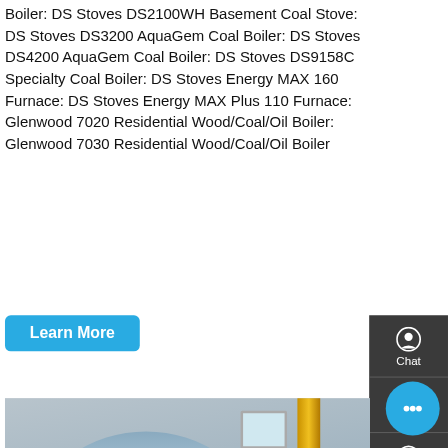Boiler: DS Stoves DS2100WH Basement Coal Stove: DS Stoves DS3200 AquaGem Coal Boiler: DS Stoves DS4200 AquaGem Coal Boiler: DS Stoves DS9158C Specialty Coal Boiler: DS Stoves Energy MAX 160 Furnace: DS Stoves Energy MAX Plus 110 Furnace: Glenwood 7020 Residential Wood/Coal/Oil Boiler: Glenwood 7030 Residential Wood/Coal/Oil Boiler
[Figure (photo): Industrial boiler in a factory setting. A large blue cylindrical boiler with a red burner attachment on its left side and a yellow pipe running vertically on the right. The floor is light-colored concrete. A wooden chair is visible on the left. WhatsApp icon and 'Contact us now!' green button overlaid on the image.]
Boiler Brands for Sale
Hello, Helen here, from Boiler factory 🏭